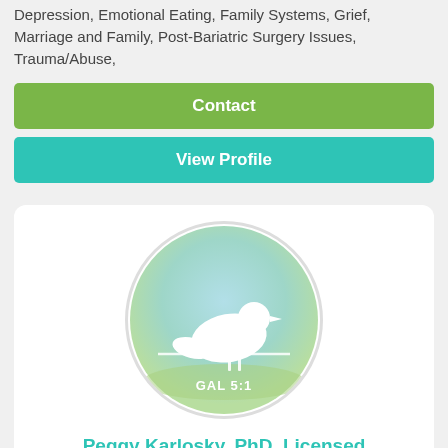Depression, Emotional Eating, Family Systems, Grief, Marriage and Family, Post-Bariatric Surgery Issues, Trauma/Abuse,
Contact
View Profile
[Figure (logo): Circle logo with gradient background (light blue/teal/green) showing a white bird silhouette perched on a line, with text 'GAL 5:1' below the bird]
Peggy Karlosky, PhD, Licensed Psychologist